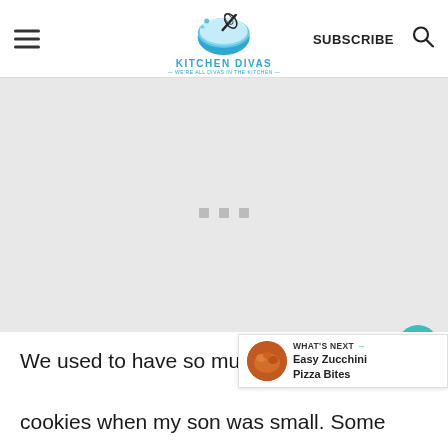Kitchen Divas — We're all divas in the kitchen — SUBSCRIBE
[Figure (other): Advertisement placeholder area with grey background and three small grey dots in center]
We used to have so much fun decor... cookies when my son was small. Some years